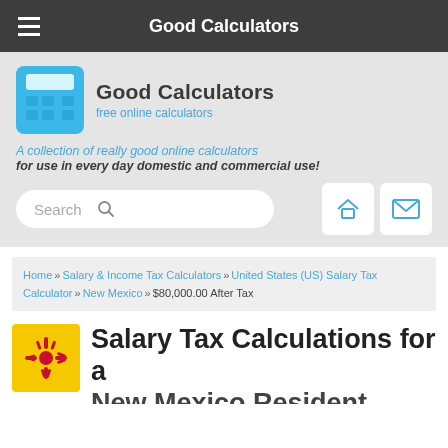Good Calculators
[Figure (logo): Good Calculators logo: calculator icon with 'Good Calculators' text and 'free online calculators' subtext]
A collection of really good online calculators for use in every day domestic and commercial use!
Search
Home » Salary & Income Tax Calculators » United States (US) Salary Tax Calculator » New Mexico » $80,000.00 After Tax
Salary Tax Calculations for a New Mexico Resident Earning...